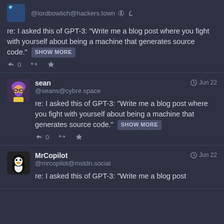@lordbowlich@hackers.town re: I asked this of GPT-3: "Write me a blog post where you fight with yourself about being a machine that generates source code." SHOW MORE
sean @seans@cybre.space Jun 22 re: I asked this of GPT-3: "Write me a blog post where you fight with yourself about being a machine that generates source code." SHOW MORE
MrCopilot @mrcopilot@mstdn.social Jun 22 re: I asked this of GPT-3: "Write me a blog post